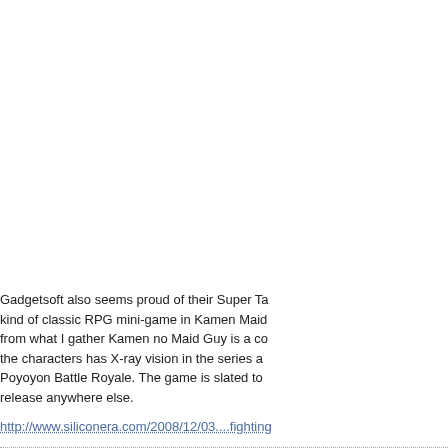Gadgetsoft also seems proud of their Super Ta... kind of classic RPG mini-game in Kamen Maid... from what I gather Kamen no Maid Guy is a co... the characters has X-ray vision in the series an... Poyoyon Battle Royale. The game is slated to... release anywhere else.
http://www.siliconera.com/2008/12/03....fighting...
To read more of the post and Download, cli...
Join In and Discuss Here
Submit News and Releases Here and Contact...